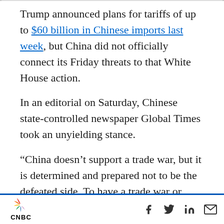Trump announced plans for tariffs of up to $60 billion in Chinese imports last week, but China did not officially connect its Friday threats to that White House action.
In an editorial on Saturday, Chinese state-controlled newspaper Global Times took an unyielding stance.
“China doesn’t support a trade war, but it is determined and prepared not to be the defeated side. To have a trade war or talks, that’s the US’ call,” said the newspaper, which is owned by the
CNBC